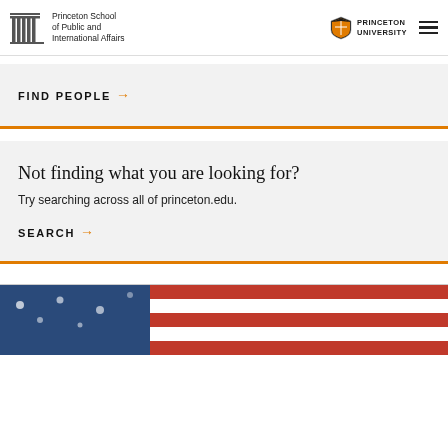Princeton School of Public and International Affairs | PRINCETON UNIVERSITY
FIND PEOPLE →
Not finding what you are looking for?
Try searching across all of princeton.edu.
SEARCH →
[Figure (photo): Partial view of American flags (red, white, blue) at the bottom of the page]